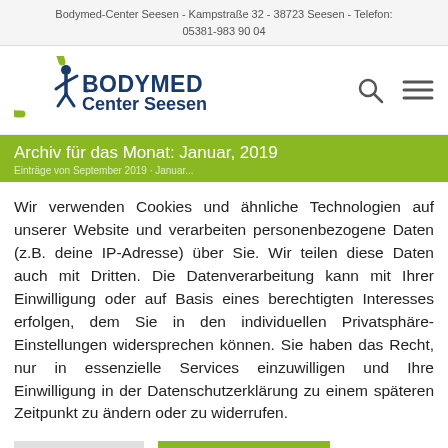Bodymed-Center Seesen - Kampstraße 32 - 38723 Seesen - Telefon: 05381-983 90 04
[Figure (logo): Bodymed Center Seesen logo with green crescent and blue figure, BODYMED in bold dark blue, Center Seesen below]
Archiv für das Monat: Januar, 2019
Wir verwenden Cookies und ähnliche Technologien auf unserer Website und verarbeiten personenbezogene Daten (z.B. deine IP-Adresse) über Sie. Wir teilen diese Daten auch mit Dritten. Die Datenverarbeitung kann mit Ihrer Einwilligung oder auf Basis eines berechtigten Interesses erfolgen, dem Sie in den individuellen Privatsphäre-Einstellungen widersprechen können. Sie haben das Recht, nur in essenzielle Services einzuwilligen und Ihre Einwilligung in der Datenschutzerklärung zu einem späteren Zeitpunkt zu ändern oder zu widerrufen.
Einstellungen
alle akzeptieren